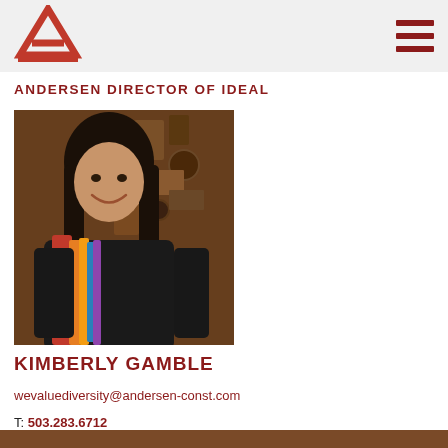[Figure (logo): Andersen Construction red triangle/A logo in header bar]
ANDERSEN DIRECTOR OF IDEAL
[Figure (photo): Portrait photo of Kimberly Gamble smiling, wearing a colorful scarf, standing in front of metal sculpture wall]
KIMBERLY GAMBLE
wevaluediversity@andersen-const.com
T: 503.283.6712